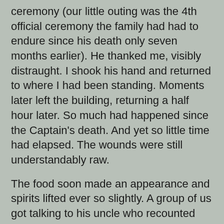ceremony (our little outing was the 4th official ceremony the family had had to endure since his death only seven months earlier). He thanked me, visibly distraught. I shook his hand and returned to where I had been standing. Moments later left the building, returning a half hour later. So much had happened since the Captain's death. And yet so little time had elapsed. The wounds were still understandably raw.
The food soon made an appearance and spirits lifted ever so slightly. A group of us got talking to his uncle who recounted several humorous stories of the captain's childhood. This conversation was followed up with a very amiable chat with Capitaine Dupin's father. The genuine appreciation and consolation upon hearing - direct from us Legionnaires - just how much we liked and respected the captain was immediately evident. We couldn't say enough positive things, his dad couldn't thank us enough. Any fears of tripping over funeral clichés were unflinchingly discarded. When words carry such